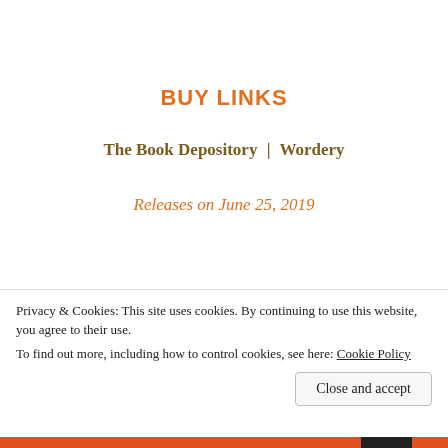BUY LINKS
The Book Depository | Wordery
Releases on June 25, 2019
Share this:
Email  Twitter  Pocket  Tumblr  Reddit
Privacy & Cookies: This site uses cookies. By continuing to use this website, you agree to their use.
To find out more, including how to control cookies, see here: Cookie Policy
Close and accept